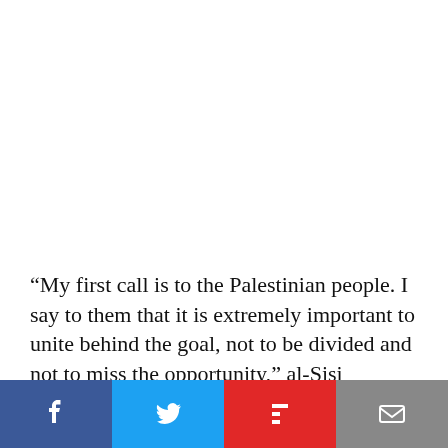“My first call is to the Palestinian people. I say to them that it is extremely important to unite behind the goal, not to be divided and not to miss the opportunity,” al-Sisi declared.
...ee to ...and
[Figure (other): Social media sharing bar with Facebook (blue), Twitter (light blue), Flipboard (red), and Email (gray) buttons]